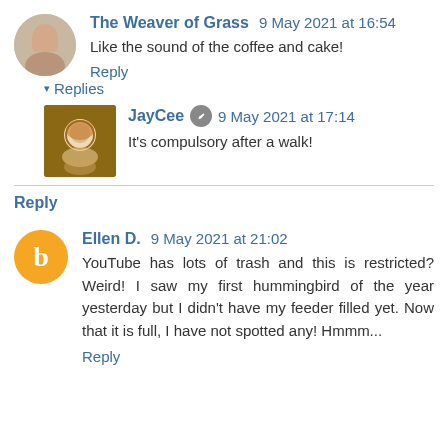The Weaver of Grass 9 May 2021 at 16:54
Like the sound of the coffee and cake!
Reply
▾ Replies
JayCee 9 May 2021 at 17:14
It's compulsory after a walk!
Reply
Ellen D. 9 May 2021 at 21:02
YouTube has lots of trash and this is restricted? Weird! I saw my first hummingbird of the year yesterday but I didn't have my feeder filled yet. Now that it is full, I have not spotted any! Hmmm...
Reply